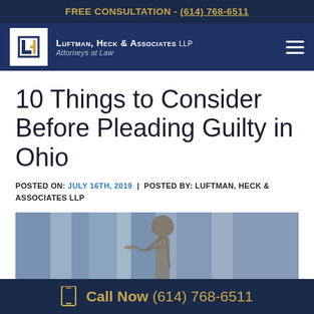FREE CONSULTATION - (614) 768-6511
[Figure (logo): Luftman, Heck & Associates LLP law firm logo with navigation bar showing hamburger menu]
10 Things to Consider Before Pleading Guilty in Ohio
POSTED ON: JULY 16TH, 2019  |  POSTED BY: LUFTMAN, HECK & ASSOCIATES LLP
[Figure (photo): Blurred photo of Lady Justice statue with law books in background]
Call Now (614) 768-6511